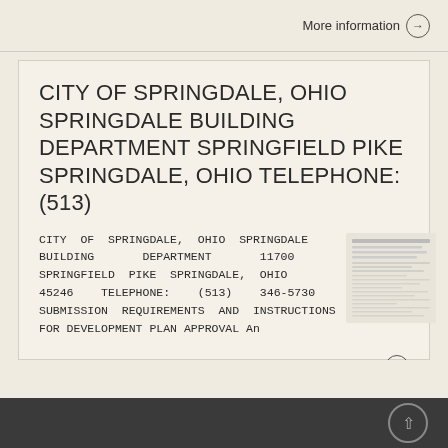More information →
CITY OF SPRINGDALE, OHIO SPRINGDALE BUILDING DEPARTMENT SPRINGFIELD PIKE SPRINGDALE, OHIO TELEPHONE: (513)
CITY OF SPRINGDALE, OHIO SPRINGDALE BUILDING DEPARTMENT 11700 SPRINGFIELD PIKE SPRINGDALE, OHIO 45246 TELEPHONE: (513) 346-5730 SUBMISSION REQUIREMENTS AND INSTRUCTIONS FOR DEVELOPMENT PLAN APPROVAL An
[Figure (screenshot): Thumbnail image of a document page showing text content]
More information →
↑